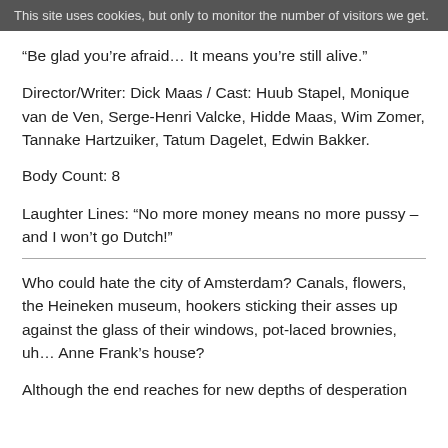This site uses cookies, but only to monitor the number of visitors we get.
“Be glad you’re afraid… It means you’re still alive.”
Director/Writer: Dick Maas / Cast: Huub Stapel, Monique van de Ven, Serge-Henri Valcke, Hidde Maas, Wim Zomer, Tannake Hartzuiker, Tatum Dagelet, Edwin Bakker.
Body Count: 8
Laughter Lines: “No more money means no more pussy – and I won’t go Dutch!”
Who could hate the city of Amsterdam? Canals, flowers, the Heineken museum, hookers sticking their asses up against the glass of their windows, pot-laced brownies, uh… Anne Frank’s house?
Although the end reaches for new depths of desperation